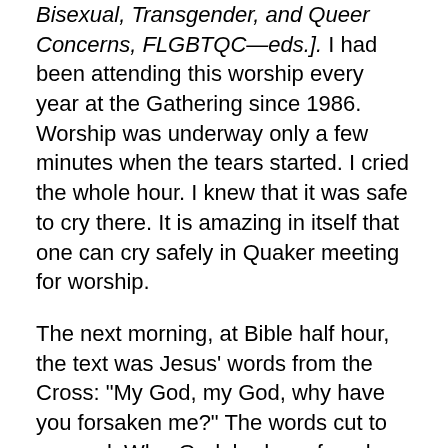Bisexual, Transgender, and Queer Concerns, FLGBTQC—eds.]. I had been attending this worship every year at the Gathering since 1986. Worship was underway only a few minutes when the tears started. I cried the whole hour. I knew that it was safe to cry there. It is amazing in itself that one can cry safely in Quaker meeting for worship.
The next morning, at Bible half hour, the text was Jesus' words from the Cross: "My God, my God, why have you forsaken me?" The words cut to my soul. Why, God, had you forsaken me? Where were you for me now?
Marian's accident was on January 8, 1991. She was quadriplegic on arrival at the hospital from a spinal cord injury due to a neck fracture. She had other injuries including multiple fractures of her right leg and lung injuries. After major surgery, two weeks in the ICU, and then physical therapy, she slowly